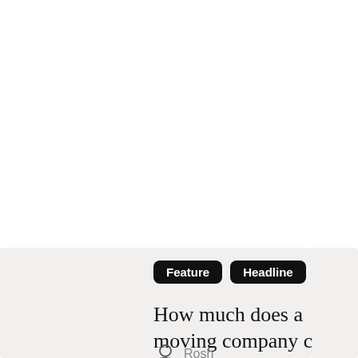[Figure (other): Five dots in a horizontal row showing a loading or pagination indicator. Dots vary in shade from dark gray to black, with one lighter gray dot.]
[Figure (other): Card preview showing article tags 'Feature' and 'Headline' in black pill labels, headline text 'How much does a moving company c...' partially visible, author icon and name 'Rosh', and a red square button with a white upward arrow in the bottom right corner.]